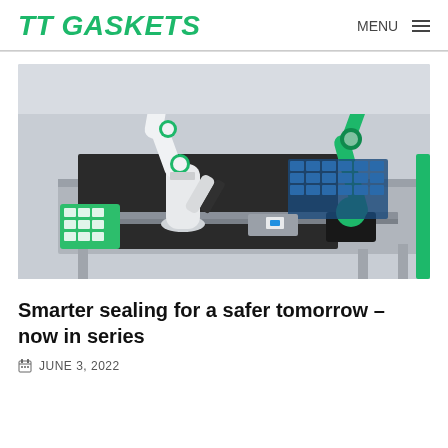TT GASKETS  MENU
[Figure (photo): Industrial robotic arms on an automated assembly line workstation. A white multi-joint robotic arm on the left and a green robotic arm on the right, working over a conveyor/work surface with components. The equipment appears to be a collaborative robot (cobot) manufacturing setup.]
Smarter sealing for a safer tomorrow – now in series
JUNE 3, 2022